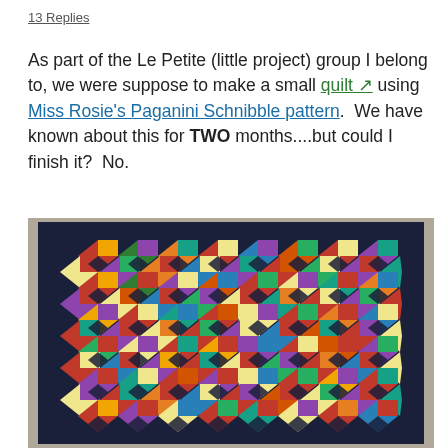13 Replies
As part of the Le Petite (little project) group I belong to, we were suppose to make a small quilt using Miss Rosie's Paganini Schnibble pattern.  We have known about this for TWO months....but could I finish it?  No.
[Figure (photo): A colorful patchwork quilt laid flat, featuring a Schnibble pattern with many multicolored fabric pieces (red, yellow, green, blue, orange, purple, teal, brown) arranged in a curved geometric design on a dark navy blue border, photographed on a gray carpeted floor.]